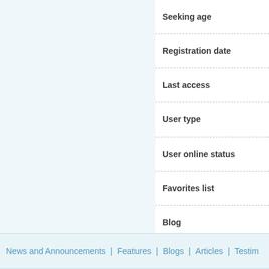Seeking age
Registration date
Last access
User type
User online status
Favorites list
Blog
Forum posts
Rate this profile
(1 - Worse, 10 - Better)
No comments available.
News and Announcements | Features | Blogs | Articles | Testim...